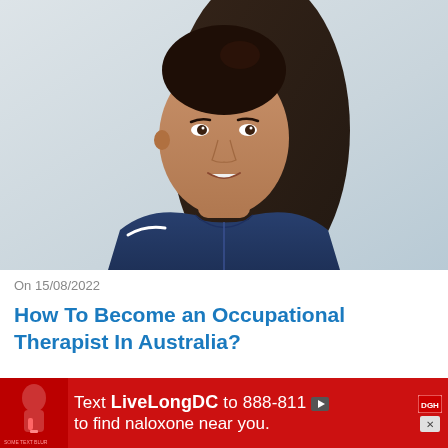[Figure (photo): Portrait photo of a young woman with long dark hair pulled back, wearing a dark navy blue scrub top with white trim, smiling against a light grey/white background — appears to be a healthcare professional or occupational therapist.]
On 15/08/2022
How To Become an Occupational Therapist In Australia?
Are you seeking a rewarding career in healthcare that is stress-free and provides high job satisf...
[Figure (infographic): Red advertisement banner with text: 'Text LiveLongDC to 888-811 to find naloxone near you.' with DC health branding logo and a play button icon and close button.]